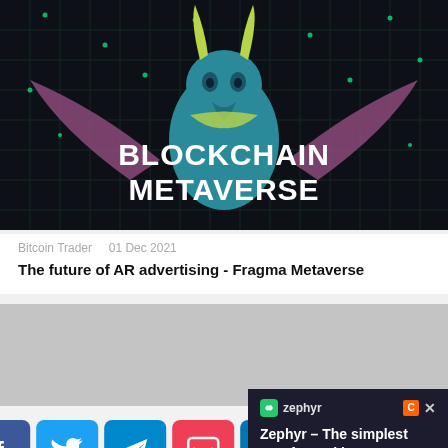[Figure (illustration): Dark background with circuit pattern, a teal/green dragon mascot with yellow horns and pink wings, text 'BLOCKCHAIN METAVERSE' in large white bold letters]
Bitcoin Trader   01 Dec 2021
The future of AR advertising - Fragma Metaverse
[Figure (screenshot): Gray placeholder image area with social sharing icons (Facebook, Twitter, Telegram, Pocket, LinkedIn) and an overlaid ad for Zephyr - The simplest way for making money on crypto]